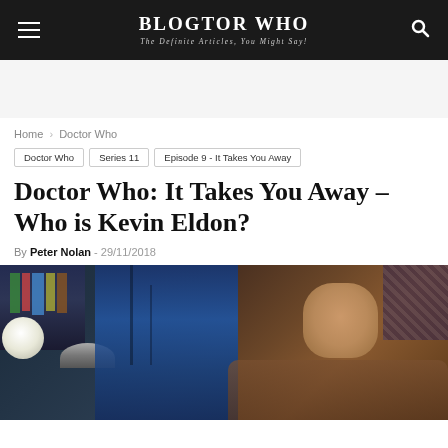BLOGTOR WHO — The Definite Articles, You Might Say!
Home › Doctor Who
Doctor Who
Series 11
Episode 9 - It Takes You Away
Doctor Who: It Takes You Away – Who is Kevin Eldon?
By Peter Nolan - 29/11/2018
[Figure (photo): A man seated in a leather armchair in a dimly lit room with bookshelves, blue curtains/window in background, and a lamp to the left. The scene appears to be from a Doctor Who episode set.]